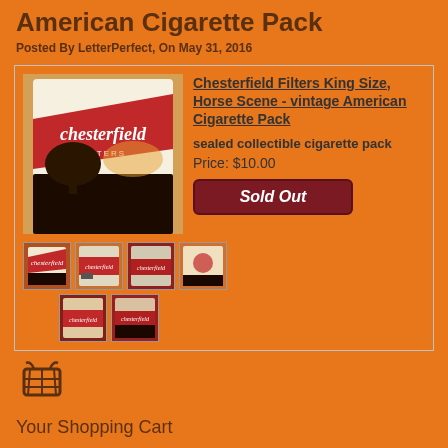American Cigarette Pack
Posted By LetterPerfect, On May 31, 2016
[Figure (photo): Product listing card showing Chesterfield Filters King Size cigarette pack with horse scene, thumbnail images below, title link, description, price, and Sold Out button]
Chesterfield Filters King Size, Horse Scene - vintage American Cigarette Pack
sealed collectible cigarette pack
Price: $10.00
Sold Out
Your Shopping Cart
Your cart is empty
Visit The Shop